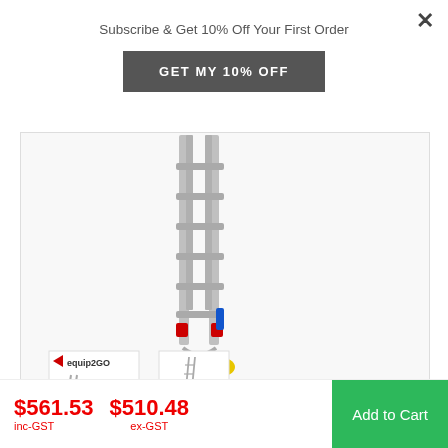Subscribe & Get 10% Off Your First Order
GET MY 10% OFF
[Figure (photo): Aluminium extension ladder shown close-up at base with yellow feet and red locking mechanisms, with two smaller thumbnail images below including an equip2GO branded image]
Indalex Aluminium Extension Ladder -
$561.53 inc-GST  $510.48 ex-GST  Add to Cart